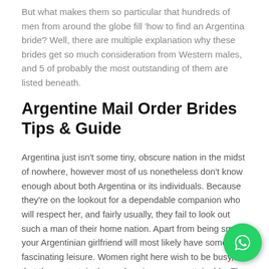But what makes them so particular that hundreds of men from around the globe fill 'how to find an Argentina bride? Well, there are multiple explanation why these brides get so much consideration from Western males, and 5 of probably the most outstanding of them are listed beneath.
Argentine Mail Order Brides Tips & Guide
Argentina just isn't some tiny, obscure nation in the midst of nowhere, however most of us nonetheless don't know enough about both Argentina or its individuals. Because they're on the lookout for a dependable companion who will respect her, and fairly usually, they fail to look out such a man of their home nation. Apart from being smart, your Argentinian girlfriend will most likely have some fascinating leisure. Women right here wish to be busy, so that they entertain themselves in any way attainable. The interest could additionally be educating, like learning a model new language, learning, or simply having enjoyable, like dancing or stepping into for sports activities
[Figure (other): WhatsApp floating action button icon in green circle at bottom right]